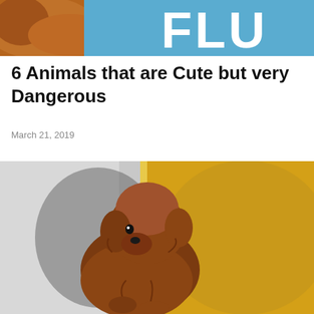[Figure (photo): Partial banner image showing a dog and the text 'FLU' in large white letters on a blue background]
6 Animals that are Cute but very Dangerous
March 21, 2019
[Figure (photo): A small fluffy brown/auburn toy poodle puppy sitting on a white and yellow background, looking to the side]